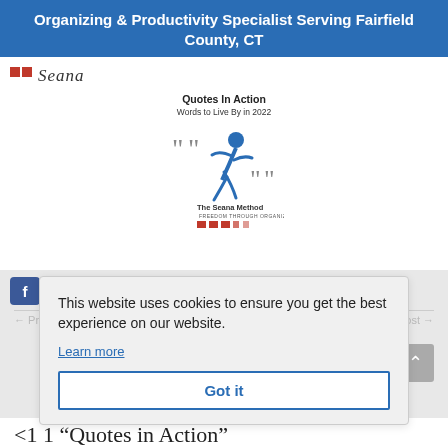Organizing & Productivity Specialist Serving Fairfield County, CT
[Figure (logo): Seana logo with red squares and italic script text]
[Figure (illustration): Quotes In Action - Words to Live By in 2022 - The Seana Method logo with running figure and quotation marks]
This website uses cookies to ensure you get the best experience on our website.
Learn more
Got it
← Previous Post
Next Post →
4 1 "Quotes in Action"